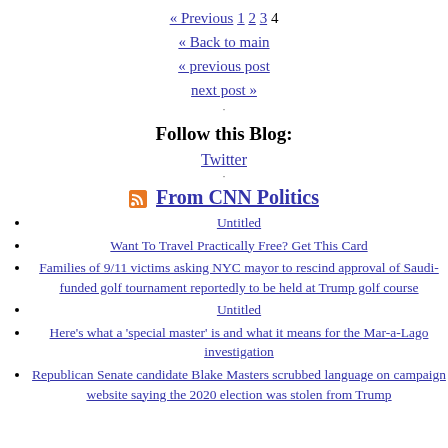« Previous 1 2 3 4
« Back to main
« previous post
next post »
Follow this Blog:
Twitter
From CNN Politics
Untitled
Want To Travel Practically Free? Get This Card
Families of 9/11 victims asking NYC mayor to rescind approval of Saudi-funded golf tournament reportedly to be held at Trump golf course
Untitled
Here's what a 'special master' is and what it means for the Mar-a-Lago investigation
Republican Senate candidate Blake Masters scrubbed language on campaign website saying the 2020 election was stolen from Trump